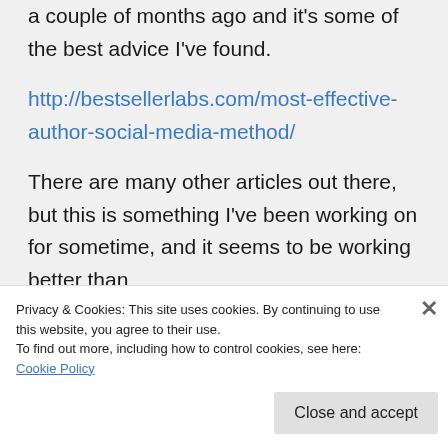a couple of months ago and it's some of the best advice I've found.
http://bestsellerlabs.com/most-effective-author-social-media-method/
There are many other articles out there, but this is something I've been working on for sometime, and it seems to be working better than
Privacy & Cookies: This site uses cookies. By continuing to use this website, you agree to their use.
To find out more, including how to control cookies, see here: Cookie Policy